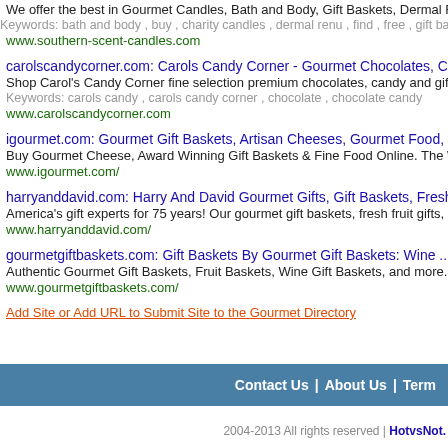We offer the best in Gourmet Candles, Bath and Body, Gift Baskets, Dermal Renu, Charity
Keywords: bath and body , buy , charity candles , dermal renu , find , free , gift baskets
www.southern-scent-candles.com
carolscandycorner.com: Carols Candy Corner - Gourmet Chocolates, Candy, Gifts
Shop Carol's Candy Corner fine selection premium chocolates, candy and gifts for all occa
Keywords: carols candy , carols candy corner , chocolate , chocolate candy
www.carolscandycorner.com
igourmet.com: Gourmet Gift Baskets, Artisan Cheeses, Gourmet Food, Cheese Basket Gif
Buy Gourmet Cheese, Award Winning Gift Baskets & Fine Food Online. The Widest Selec
www.igourmet.com/
harryanddavid.com: Harry And David Gourmet Gifts, Gift Baskets, Fresh Fruit Gifts, Gou
America's gift experts for 75 years! Our gourmet gift baskets, fresh fruit gifts, gourmet cho
www.harryanddavid.com/
gourmetgiftbaskets.com: Gift Baskets By Gourmet Gift Baskets: Wine ...
Authentic Gourmet Gift Baskets, Fruit Baskets, Wine Gift Baskets, and more. Unique, Ori
www.gourmetgiftbaskets.com/
Add Site or Add URL to Submit Site to the Gourmet Directory
Contact Us | About Us | Term
2004-2013 All rights reserved | HotvsNot.